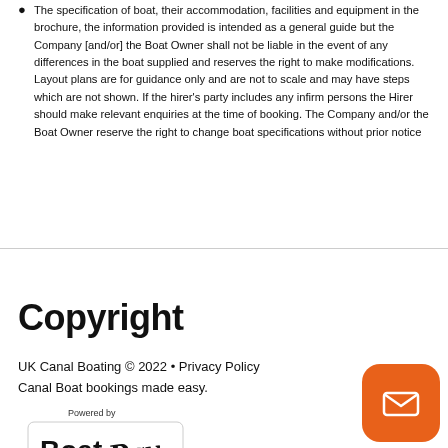The specification of boat, their accommodation, facilities and equipment in the brochure, the information provided is intended as a general guide but the Company [and/or] the Boat Owner shall not be liable in the event of any differences in the boat supplied and reserves the right to make modifications. Layout plans are for guidance only and are not to scale and may have steps which are not shown. If the hirer's party includes any infirm persons the Hirer should make relevant enquiries at the time of booking. The Company and/or the Boat Owner reserve the right to change boat specifications without prior notice
Copyright
UK Canal Boating © 2022 • Privacy Policy
Canal Boat bookings made easy.
[Figure (logo): Powered by BoatPay logo — black and white logo with cursive 'Pay' text]